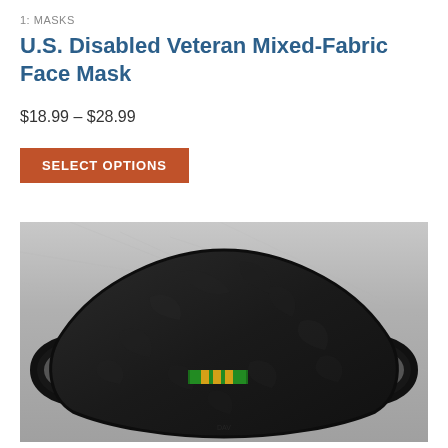1: MASKS
U.S. Disabled Veteran Mixed-Fabric Face Mask
$18.99 – $28.99
SELECT OPTIONS
[Figure (photo): Black fabric face mask with Vietnam service ribbon (green and yellow stripes) displayed on a gray metallic surface. The mask has ear loops on both sides and a contoured shape.]